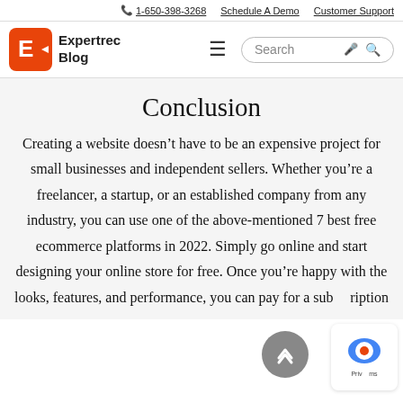1-650-398-3268  Schedule A Demo  Customer Support
[Figure (logo): Expertrec Blog logo — orange E icon with Blog text]
Conclusion
Creating a website doesn’t have to be an expensive project for small businesses and independent sellers. Whether you’re a freelancer, a startup, or an established company from any industry, you can use one of the above-mentioned 7 best free ecommerce platforms in 2022. Simply go online and start designing your online store for free. Once you’re happy with the looks, features, and performance, you can pay for a subscription